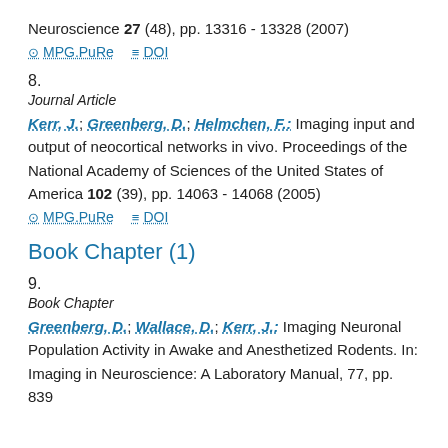Neuroscience 27 (48), pp. 13316 - 13328 (2007)
MPG.PuRe   DOI
8.
Journal Article
Kerr, J.; Greenberg, D.; Helmchen, F.: Imaging input and output of neocortical networks in vivo. Proceedings of the National Academy of Sciences of the United States of America 102 (39), pp. 14063 - 14068 (2005)
MPG.PuRe   DOI
Book Chapter (1)
9.
Book Chapter
Greenberg, D.; Wallace, D.; Kerr, J.: Imaging Neuronal Population Activity in Awake and Anesthetized Rodents. In: Imaging in Neuroscience: A Laboratory Manual, 77, pp. 839